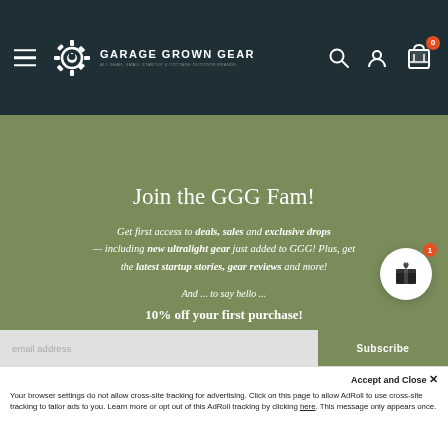[Figure (logo): Garage Grown Gear logo with gear icon and tagline, white on dark teal navbar with hamburger menu, search, account, and cart icons]
Join the GGG Fam!
Get first access to deals, sales and exclusive drops — including new ultralight gear just added to GGG! Plus, get the latest startup stories, gear reviews and more!
And ... to say hello ...
10% off your first purchase!
email address
Subscribe
Accept and Close ✕
Your browser settings do not allow cross-site tracking for advertising. Click on this page to allow AdRoll to use cross-site tracking to tailor ads to you. Learn more or opt out of this AdRoll tracking by clicking here. This message only appears once.